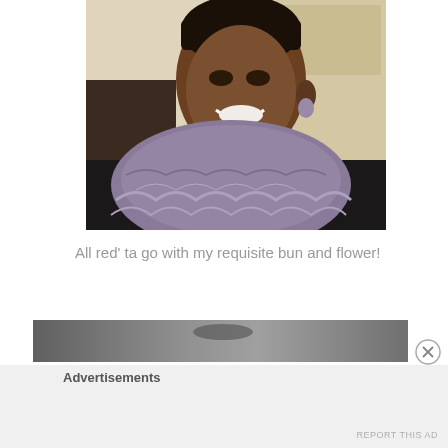[Figure (photo): A smiling woman wearing a purple/lavender knit lace scarf and black top, with hair pulled back, photographed indoors in front of a door.]
All red' ta go with my requisite bun and flower!
[Figure (photo): Partial image of a second photo, dark/grey toned, partially visible at bottom of page as an advertisement strip.]
Advertisements
REPORT THIS AD